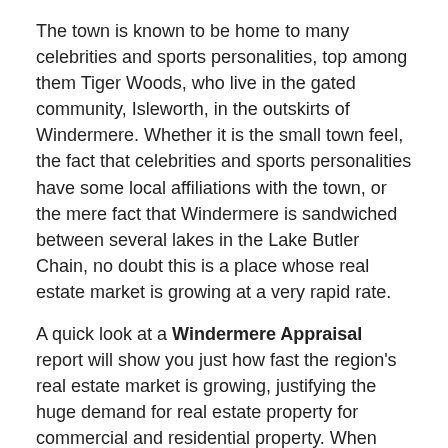The town is known to be home to many celebrities and sports personalities, top among them Tiger Woods, who live in the gated community, Isleworth, in the outskirts of Windermere. Whether it is the small town feel, the fact that celebrities and sports personalities have some local affiliations with the town, or the mere fact that Windermere is sandwiched between several lakes in the Lake Butler Chain, no doubt this is a place whose real estate market is growing at a very rapid rate.
A quick look at a Windermere Appraisal report will show you just how fast the region's real estate market is growing, justifying the huge demand for real estate property for commercial and residential property. When looking to have an appraisal done on a property you wish to purchase in Windermere, or sell your existing one, no doubt a qualified and competent property appraiser should do the trick for you.
The best Windermere Appraisal report will be compiled by someone who has the qualifications and experience working in the neighborhood. This should be someone who understands the local lender requirements when it comes to appraisal reports. This is the only guarantee you will have of getting an accurate report, thus improving your chances of getting approved for a loan.